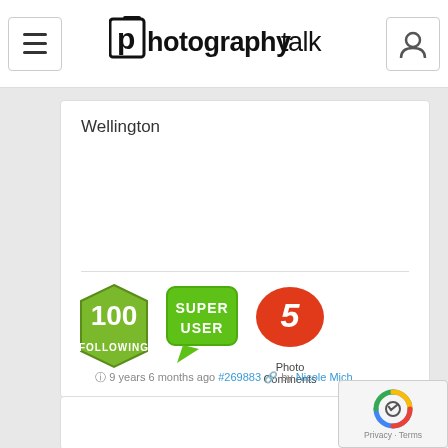photographytalk
Wellington
[Figure (illustration): Three badges: '100 Following' green polygon badge, 'Super User' green speech bubble badge, and '5 Photo Comments' red speech bubble badge]
Please Log in or Create an account to join the conversation.
9 years 6 months ago #269883 by Nicole Mich